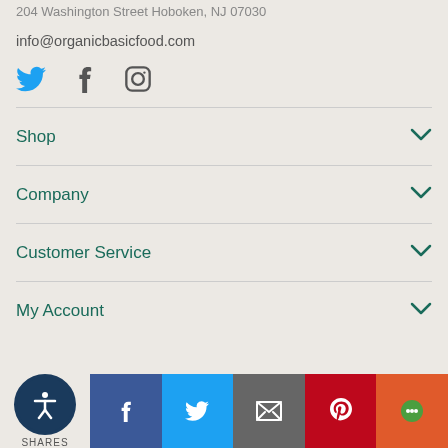204 Washington Street Hoboken, NJ 07030
info@organicbasicfood.com
[Figure (other): Social media icons: Twitter (blue bird), Facebook (f), Instagram (camera outline)]
Shop
Company
Customer Service
My Account
[Figure (other): Bottom share bar with accessibility icon and SHARES label, Facebook, Twitter, Email, Pinterest, and Chat share buttons]